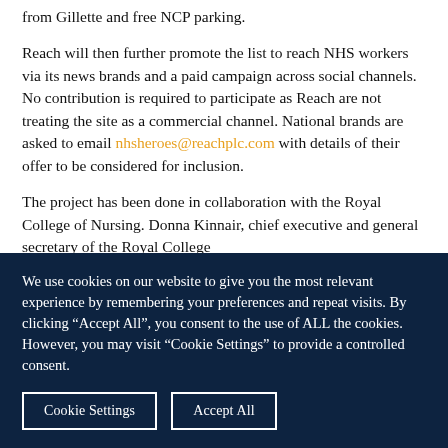from Gillette and free NCP parking.
Reach will then further promote the list to reach NHS workers via its news brands and a paid campaign across social channels. No contribution is required to participate as Reach are not treating the site as a commercial channel. National brands are asked to email nhsheroes@reachplc.com with details of their offer to be considered for inclusion.
The project has been done in collaboration with the Royal College of Nursing. Donna Kinnair, chief executive and general secretary of the Royal College
We use cookies on our website to give you the most relevant experience by remembering your preferences and repeat visits. By clicking “Accept All”, you consent to the use of ALL the cookies. However, you may visit “Cookie Settings” to provide a controlled consent.